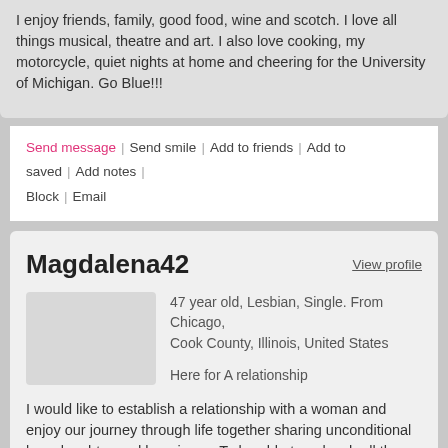I enjoy friends, family, good food, wine and scotch. I love all things musical, theatre and art. I also love cooking, my motorcycle, quiet nights at home and cheering for the University of Michigan. Go Blue!!!
Send message | Send smile | Add to friends | Add to saved | Add notes | Block | Email
Magdalena42
View profile
47 year old, Lesbian, Single. From Chicago, Cook County, Illinois, United States
Here for A relationship
I would like to establish a relationship with a woman and enjoy our journey through life together sharing unconditional love, laughter and happiness. To be able to unleash all these wonderful feelings, kindness and warmth that I have all bottled up inside on someone who would appreciate
Send message | Send smile | Add to friends | Add to saved | Add notes